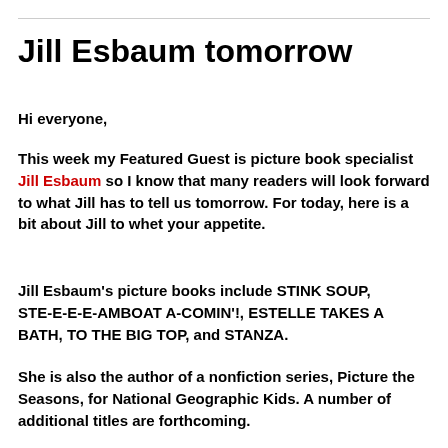Jill Esbaum tomorrow
Hi everyone,
This week my Featured Guest is picture book specialist Jill Esbaum so I know that many readers will look forward to what Jill has to tell us tomorrow. For today, here is a bit about Jill to whet your appetite.
Jill Esbaum's picture books include STINK SOUP, STE-E-E-E-AMBOAT A-COMIN'!, ESTELLE TAKES A BATH, TO THE BIG TOP, and STANZA.
She is also the author of a nonfiction series, Picture the Seasons, for National Geographic Kids. A number of additional titles are forthcoming.